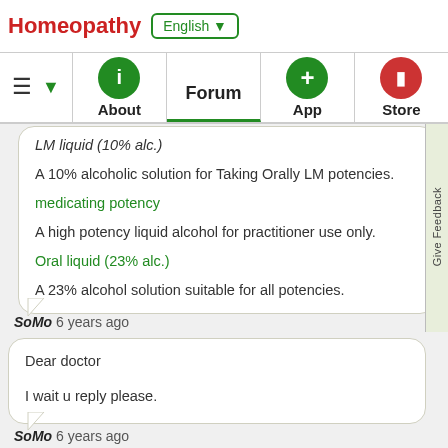Homeopathy  English ▼
≡  ▼   About   Forum   App   Store
LM liquid (10% alc.)

A 10% alcoholic solution for Taking Orally LM potencies.

medicating potency

A high potency liquid alcohol for practitioner use only.

Oral liquid (23% alc.)

A 23% alcohol solution suitable for all potencies.
SoMo 6 years ago
Dear doctor

I wait u reply please.
SoMo 6 years ago